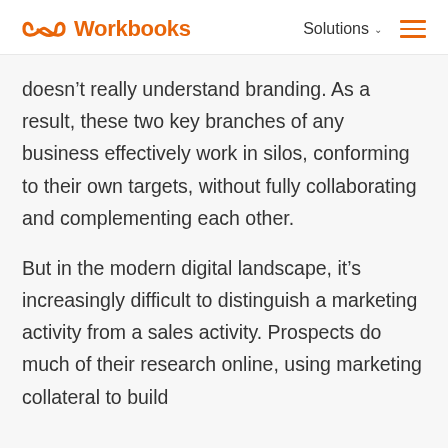Workbooks | Solutions
doesn't really understand branding. As a result, these two key branches of any business effectively work in silos, conforming to their own targets, without fully collaborating and complementing each other.
But in the modern digital landscape, it's increasingly difficult to distinguish a marketing activity from a sales activity. Prospects do much of their research online, using marketing collateral to build